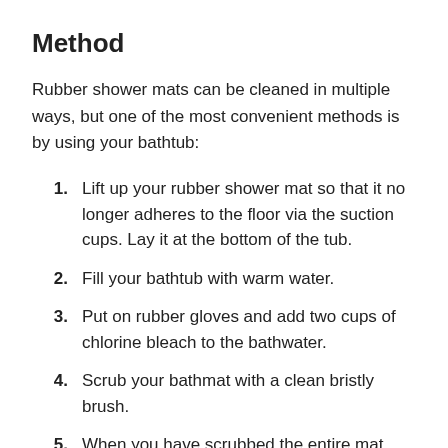Method
Rubber shower mats can be cleaned in multiple ways, but one of the most convenient methods is by using your bathtub:
1. Lift up your rubber shower mat so that it no longer adheres to the floor via the suction cups. Lay it at the bottom of the tub.
2. Fill your bathtub with warm water.
3. Put on rubber gloves and add two cups of chlorine bleach to the bathwater.
4. Scrub your bathmat with a clean bristly brush.
5. When you have scrubbed the entire mat (top